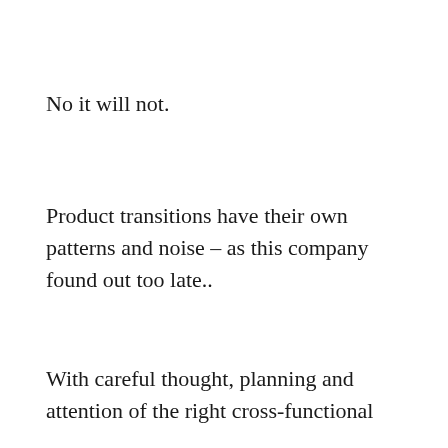No it will not.
Product transitions have their own patterns and noise – as this company found out too late..
With careful thought, planning and attention of the right cross-functional